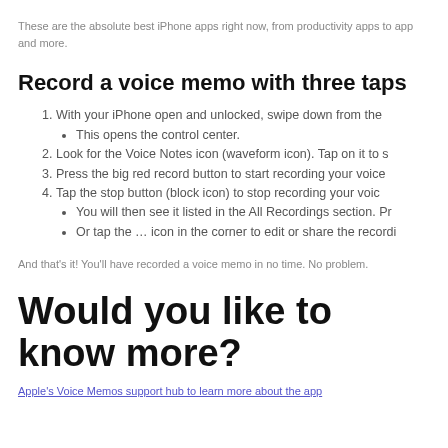These are the absolute best iPhone apps right now, from productivity apps to apps and more.
Record a voice memo with three taps
1. With your iPhone open and unlocked, swipe down from the
This opens the control center.
2. Look for the Voice Notes icon (waveform icon). Tap on it to s
3. Press the big red record button to start recording your voice
4. Tap the stop button (block icon) to stop recording your voic
You will then see it listed in the All Recordings section. Pr
Or tap the … icon in the corner to edit or share the recordi
And that's it! You'll have recorded a voice memo in no time. No problem.
Would you like to know more?
Apple's Voice Memos support hub to learn more about the app